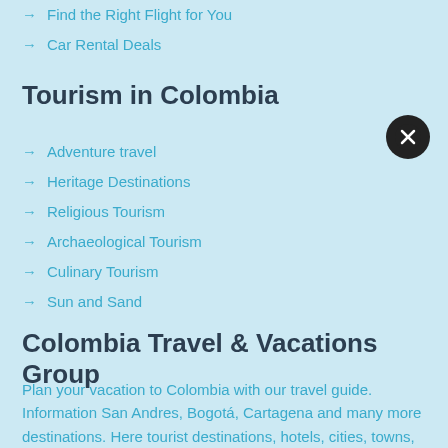Find the Right Flight for You
Car Rental Deals
Tourism in Colombia
Adventure travel
Heritage Destinations
Religious Tourism
Archaeological Tourism
Culinary Tourism
Sun and Sand
Colombia Travel & Vacations Group
Plan your vacation to Colombia with our travel guide. Information San Andres, Bogotá, Cartagena and many more destinations. Here tourist destinations, hotels, cities, towns, ecotourism, adventure tourism, beaches, photos, videos and more.